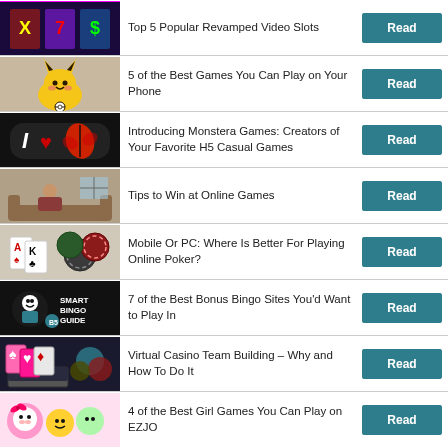Top 5 Popular Revamped Video Slots
5 of the Best Games You Can Play on Your Phone
Introducing Monstera Games: Creators of Your Favorite H5 Casual Games
Tips to Win at Online Games
Mobile Or PC: Where Is Better For Playing Online Poker?
7 of the Best Bonus Bingo Sites You'd Want to Play In
Virtual Casino Team Building – Why and How To Do It
4 of the Best Girl Games You Can Play on EZJO